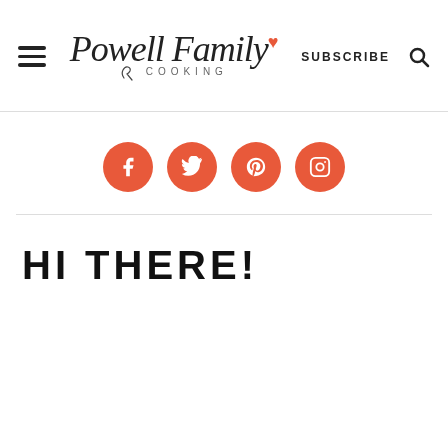[Figure (logo): Powell Family Cooking logo with script text and ladle icon, red heart accent]
[Figure (infographic): Four orange/coral social media icon circles: Facebook, Twitter, Pinterest, Instagram]
HI THERE!